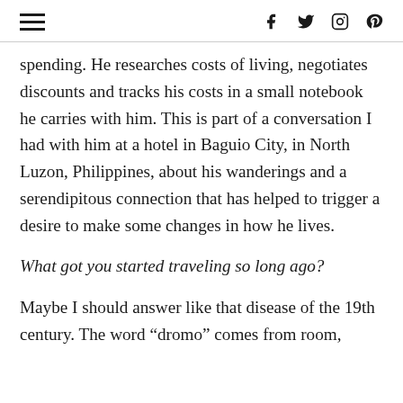≡  f  Twitter  Instagram  Pinterest
spending. He researches costs of living, negotiates discounts and tracks his costs in a small notebook he carries with him. This is part of a conversation I had with him at a hotel in Baguio City, in North Luzon, Philippines, about his wanderings and a serendipitous connection that has helped to trigger a desire to make some changes in how he lives.
What got you started traveling so long ago?
Maybe I should answer like that disease of the 19th century. The word “dromo” comes from room,